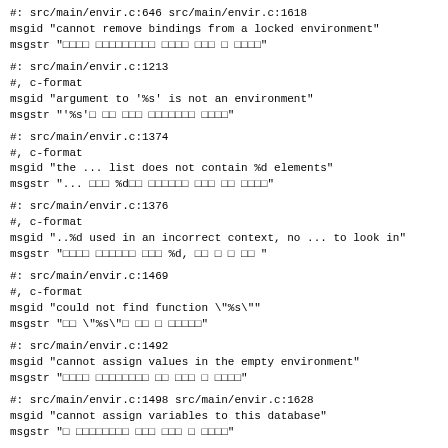#: src/main/envir.c:646 src/main/envir.c:1618
msgid "cannot remove bindings from a locked environment"
msgstr "□□□□ □□□□□□□□□ □□□□ □□□ □ □□□□"
#: src/main/envir.c:1213
#, c-format
msgid "argument to '%s' is not an environment"
msgstr "'%s'□ □□ □□□ □□□□□□□ □□□□"
#: src/main/envir.c:1374
#, c-format
msgid "the ... list does not contain %d elements"
msgstr "... □□□ %d□□ □□□□□□ □□□ □□ □□□□"
#: src/main/envir.c:1376
#, c-format
msgid "..%d used in an incorrect context, no ... to look in"
msgstr "□□□□ □□□□□□ □□□ %d,  □□ □ □ □□ "
#: src/main/envir.c:1469
#, c-format
msgid "could not find function \"%s\""
msgstr "□□ \"%s\"□ □□ □ □□□□□"
#: src/main/envir.c:1492
msgid "cannot assign values in the empty environment"
msgstr "□□□□ □□□□□□□□ □□ □□□ □ □□□□"
#: src/main/envir.c:1498 src/main/envir.c:1628
msgid "cannot assign variables to this database"
msgstr "□ □□□□□□□□ □□□ □□□ □ □□□□"
#: src/main/envir.c:1714
#, c-format
msgid "cannot add binding of '%s' to the base environment"
msgstr "□□□ '%s'□ □□□ □□□□□□□□ □□□ □ □□□□"
#: src/main/envir.c:1743